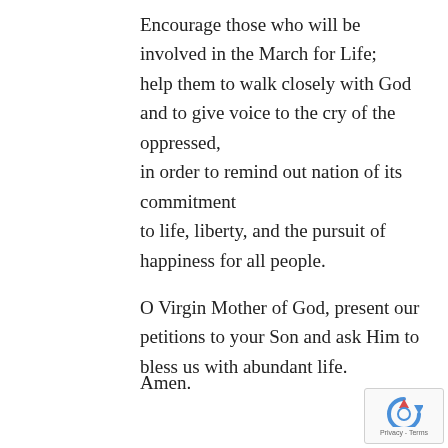Encourage those who will be involved in the March for Life; help them to walk closely with God and to give voice to the cry of the oppressed, in order to remind out nation of its commitment to life, liberty, and the pursuit of happiness for all people.

O Virgin Mother of God, present our petitions to your Son and ask Him to bless us with abundant life.
Amen.
[Figure (logo): reCAPTCHA badge with circular arrow icon and Privacy - Terms text]